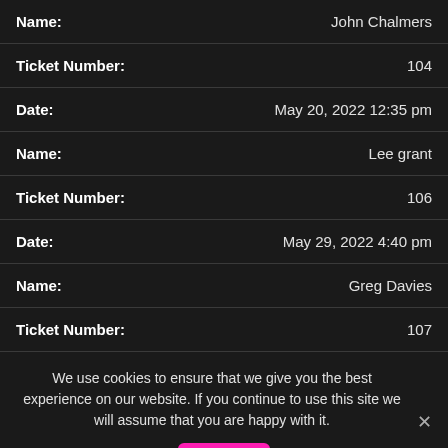| Field | Value |
| --- | --- |
| Name: | John Chalmers |
| Ticket Number: | 104 |
| Date: | May 20, 2022 12:35 pm |
| Name: | Lee grant |
| Ticket Number: | 106 |
| Date: | May 29, 2022 4:40 pm |
| Name: | Greg Davies |
| Ticket Number: | 107 |
We use cookies to ensure that we give you the best experience on our website. If you continue to use this site we will assume that you are happy with it.